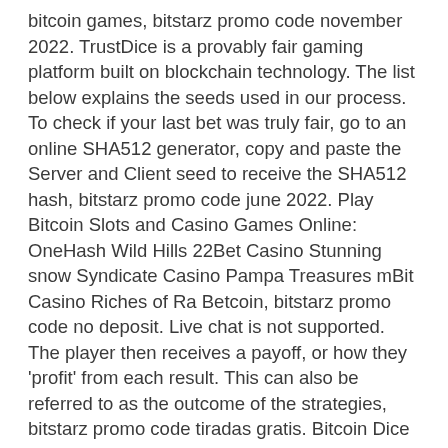bitcoin games, bitstarz promo code november 2022. TrustDice is a provably fair gaming platform built on blockchain technology. The list below explains the seeds used in our process. To check if your last bet was truly fair, go to an online SHA512 generator, copy and paste the Server and Client seed to receive the SHA512 hash, bitstarz promo code june 2022. Play Bitcoin Slots and Casino Games Online: OneHash Wild Hills 22Bet Casino Stunning snow Syndicate Casino Pampa Treasures mBit Casino Riches of Ra Betcoin, bitstarz promo code no deposit. Live chat is not supported. The player then receives a payoff, or how they 'profit' from each result. This can also be referred to as the outcome of the strategies, bitstarz promo code tiradas gratis. Bitcoin Dice is one of the most popular crypto gambling games, and even though these games are fairly simple, they are one